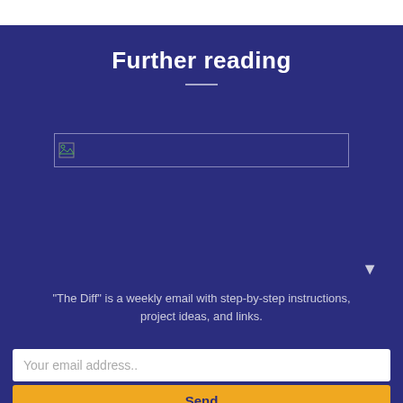Further reading
[Figure (illustration): Broken image placeholder representing a further reading link image]
"The Diff" is a weekly email with step-by-step instructions, project ideas, and links.
Your email address..
Send